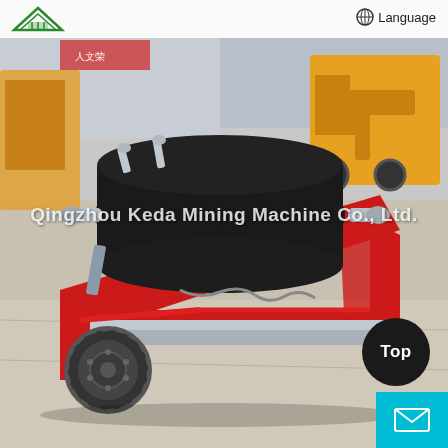[Figure (photo): Qingzhou Keda Mining Machine Co., Ltd. product photo showing a red portable magnetic separator / mining machine on wheels with a large black textured roller drum, mounted on a red steel frame with two large pneumatic tires. Background shows a paved yard with yellow construction equipment (wheel loader). Company watermark text overlaid on image.]
Qingzhou Keda Mining Machine Co., Ltd. — Language
Qingzhou Keda Mining Machine Co., Ltd.
Top
✉